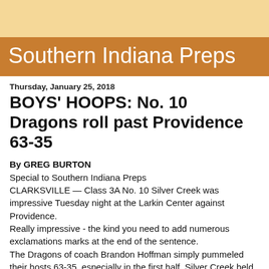Southern Indiana Preps
Thursday, January 25, 2018
BOYS' HOOPS: No. 10 Dragons roll past Providence 63-35
By GREG BURTON
Special to Southern Indiana Preps
CLARKSVILLE — Class 3A No. 10 Silver Creek was impressive Tuesday night at the Larkin Center against Providence.
Really impressive - the kind you need to add numerous exclamations marks at the end of the sentence.
The Dragons of coach Brandon Hoffman simply pummeled their hosts 63-35, especially in the first half. Silver Creek held Providence (5-10) to just two points in the first quarter. At the same time, the Dragons seemingly never missed from the field.